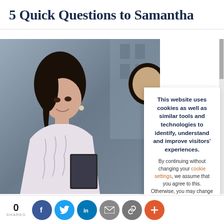5 Quick Questions to Samantha
[Figure (photo): Photo of a young Asian woman smiling, holding a tablet/book, with another person partially visible in the background. University campus setting.]
This website uses cookies as well as similar tools and technologies to identify, understand and improve visitors' experiences. By continuing without changing your cookie settings, we assume that you agree to this. Otherwise, you may change the cookie setting in your browser. To find out more, please visit our cookies policy.
CLOSE
SMU PhD Bus uncensored v
0 SHARES